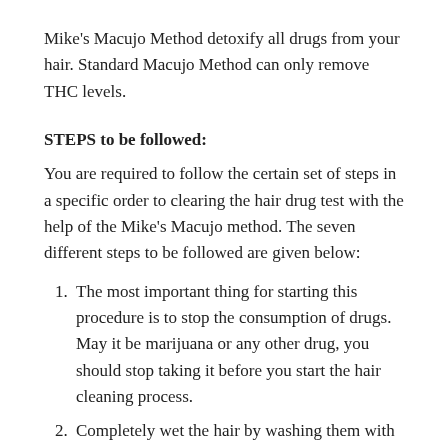Mike's Macujo Method detoxify all drugs from your hair. Standard Macujo Method can only remove THC levels.
STEPS to be followed:
You are required to follow the certain set of steps in a specific order to clearing the hair drug test with the help of the Mike's Macujo method. The seven different steps to be followed are given below:
The most important thing for starting this procedure is to stop the consumption of drugs. May it be marijuana or any other drug, you should stop taking it before you start the hair cleaning process.
Completely wet the hair by washing them with the warm water.
Massage your hair and scalp thoroughly with the Heinz Vinegar covering all your hair completely from the root till